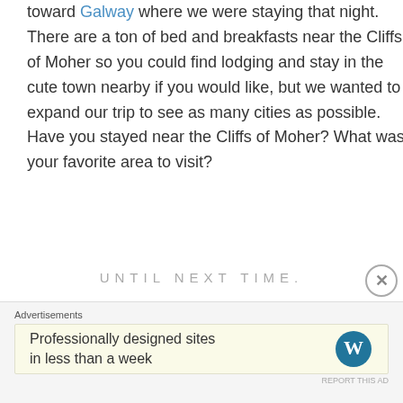toward Galway where we were staying that night. There are a ton of bed and breakfasts near the Cliffs of Moher so you could find lodging and stay in the cute town nearby if you would like, but we wanted to expand our trip to see as many cities as possible. Have you stayed near the Cliffs of Moher? What was your favorite area to visit?
[Figure (illustration): Blog signature graphic: 'UNTIL NEXT TIME.' in spaced gray uppercase letters, 'Tracy' in large dark cursive script, with a dashed arc path and a teal airplane icon below.]
Advertisements
Professionally designed sites in less than a week